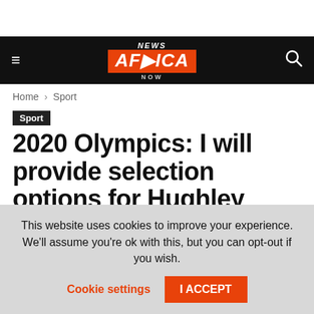NEWS AFRICA NOW
Home › Sport
Sport
2020 Olympics: I will provide selection options for Hughley
April 28, 2021    1642    0
This website uses cookies to improve your experience. We'll assume you're ok with this, but you can opt-out if you wish.
Cookie settings    I ACCEPT